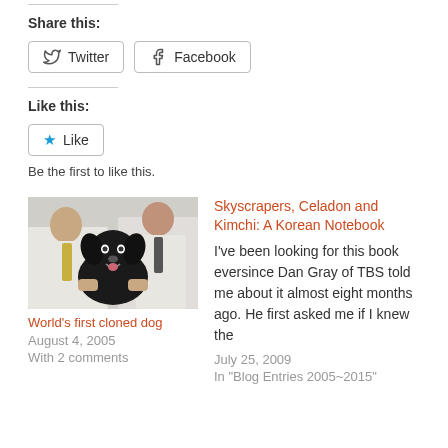Share this:
Twitter  Facebook
Like this:
★ Like
Be the first to like this.
[Figure (photo): Two men in white lab coats examining a black dog]
World's first cloned dog
August 4, 2005
With 2 comments
Skyscrapers, Celadon and Kimchi: A Korean Notebook
I've been looking for this book eversince Dan Gray of TBS told me about it almost eight months ago. He first asked me if I knew the
July 25, 2009
In "Blog Entries 2005~2015"